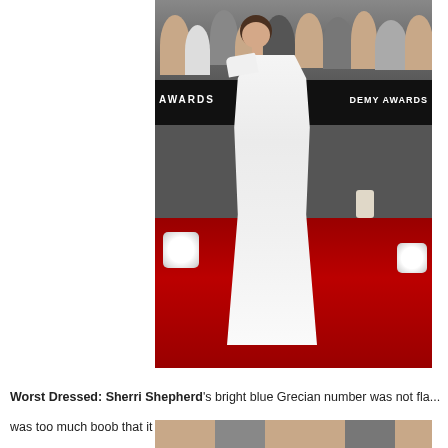[Figure (photo): A woman in a white beaded one-shoulder gown standing on the red carpet at the Academy Awards. A crowd of people is visible in the background behind a black barrier with 'AWARDS' and 'DEMY AWARDS' text. There are spotlight orbs on either side of the carpet.]
Worst Dressed: Sherri Shepherd's bright blue Grecian number was not fla... was too much boob that it ended up looking kind of messy up top.
[Figure (photo): Partial image strip at the bottom of the page, cropped.]